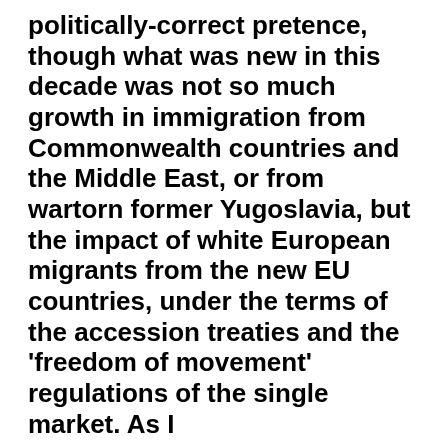politically-correct pretence, though what was new in this decade was not so much growth in immigration from Commonwealth countries and the Middle East, or from wartorn former Yugoslavia, but the impact of white European migrants from the new EU countries, under the terms of the accession treaties and the 'freedom of movement' regulations of the single market. As I